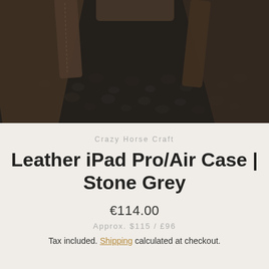[Figure (photo): Close-up photo of a dark leather iPad case with stitching on a dark gravel/pebble background. Leather straps and wooden elements visible.]
Crazy Horse Craft
Leather iPad Pro/Air Case | Stone Grey
€114.00
Approx. $115 / £96
Tax included. Shipping calculated at checkout.